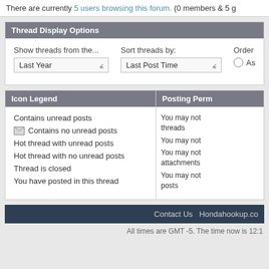There are currently 5 users browsing this forum. (0 members & 5 g
Thread Display Options
Show threads from the... Last Year | Sort threads by: Last Post Time | Order threads Ascending
Icon Legend
Posting Perm
Contains unread posts
Contains no unread posts
Hot thread with unread posts
Hot thread with no unread posts
Thread is closed
You have posted in this thread
You may not post threads
You may not post
You may not post attachments
You may not edit posts
Contact Us  Hondahookup.co
All times are GMT -5. The time now is 12:1